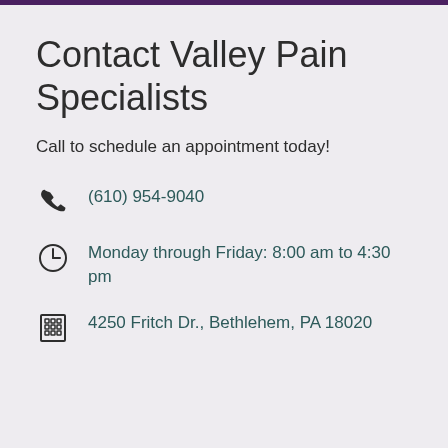Contact Valley Pain Specialists
Call to schedule an appointment today!
(610) 954-9040
Monday through Friday: 8:00 am to 4:30 pm
4250 Fritch Dr., Bethlehem, PA 18020